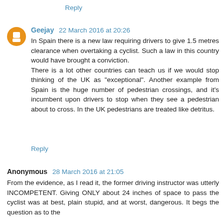Reply
Geejay 22 March 2016 at 20:26
In Spain there is a new law requiring drivers to give 1.5 metres clearance when overtaking a cyclist. Such a law in this country would have brought a conviction.
There is a lot other countries can teach us if we would stop thinking of the UK as "exceptional". Another example from Spain is the huge number of pedestrian crossings, and it's incumbent upon drivers to stop when they see a pedestrian about to cross. In the UK pedestrians are treated like detritus.
Reply
Anonymous 28 March 2016 at 21:05
From the evidence, as I read it, the former driving instructor was utterly INCOMPETENT. Giving ONLY about 24 inches of space to pass the cyclist was at best, plain stupid, and at worst, dangerous. It begs the question as to the